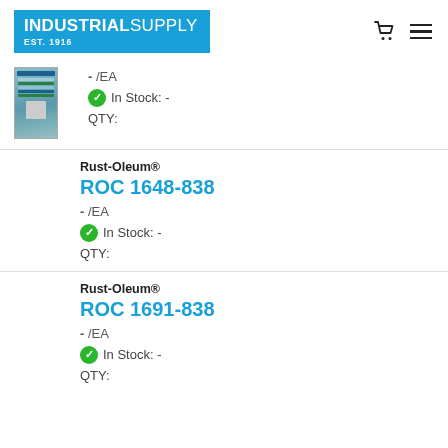INDUSTRIAL SUPPLY EST. 1916
[Figure (photo): Product image of a spray can with blue and green label]
- /EA
In Stock: -
QTY:
Rust-Oleum®
ROC 1648-838
- /EA
In Stock: -
QTY:
Rust-Oleum®
ROC 1691-838
- /EA
In Stock: -
QTY: